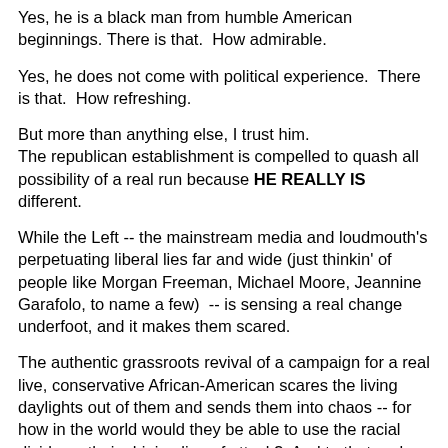Yes, he is a black man from humble American beginnings. There is that. How admirable.
Yes, he does not come with political experience. There is that. How refreshing.
But more than anything else, I trust him.
The republican establishment is compelled to quash all possibility of a real run because HE REALLY IS different.
While the Left -- the mainstream media and loudmouth's perpetuating liberal lies far and wide (just thinkin' of people like Morgan Freeman, Michael Moore, Jeannine Garafolo, to name a few) -- is sensing a real change underfoot, and it makes them scared.
The authentic grassroots revival of a campaign for a real live, conservative African-American scares the living daylights out of them and sends them into chaos -- for how in the world would they be able to use the racial divide as their shining line of attack? And to that end, the methodology of UNITING the people before DIVIDING the people, also shows no merit